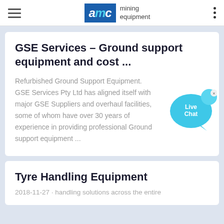AMC mining equipment
GSE Services – Ground support equipment and cost ...
Refurbished Ground Support Equipment. GSE Services Pty Ltd has aligned itself with major GSE Suppliers and overhaul facilities, some of whom have over 30 years of experience in providing professional Ground support equipment ...
[Figure (illustration): Live Chat speech bubble icon in cyan/blue]
Tyre Handling Equipment
2018-11-27 · handling solutions across the entire